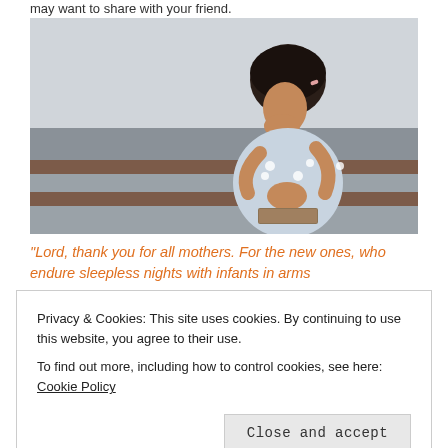may want to share with your friend.
[Figure (photo): A young girl with dark hair in a polka-dot dress sits on steps with her head bowed and hands clasped in prayer, resting on a book.]
“Lord, thank you for all mothers. For the new ones, who endure sleepless nights with infants in arms
Privacy & Cookies: This site uses cookies. By continuing to use this website, you agree to their use.
To find out more, including how to control cookies, see here: Cookie Policy
Close and accept
For the busy ones, who juggle the pressures of home